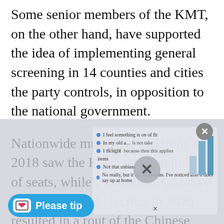Some senior members of the KMT, on the other hand, have supported the idea of implementing general screening in 14 counties and cities the party controls, in opposition to the national government.
Nationwide municipal elections in 2018 saw the KMT win a majority of seats, while a national legislative and presidential election in 2020 resulted in a rout of the Chinese nationalists in favor of the pro-Taiwan-independence Democratic
[Figure (screenshot): A partially visible popup overlay with a close X button, survey-style dot rows, a bar chart, and a Ko-fi 'Please tip' button overlaid on the bottom portion of the article text.]